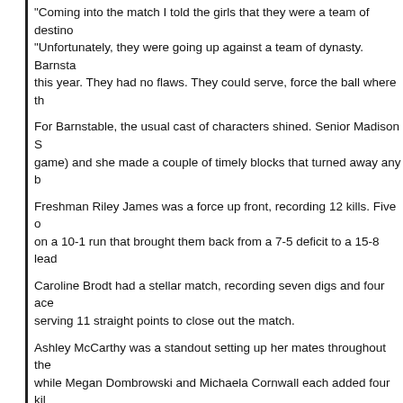“Coming into the match I told the girls that they were a team of destin… “Unfortunately, they were going up against a team of dynasty. Barnsta… this year. They had no flaws. They could serve, force the ball where th…
For Barnstable, the usual cast of characters shined. Senior Madison S… game) and she made a couple of timely blocks that turned away any b…
Freshman Riley James was a force up front, recording 12 kills. Five o… on a 10-1 run that brought them back from a 7-5 deficit to a 15-8 lead…
Caroline Brodt had a stellar match, recording seven digs and four ace… serving 11 straight points to close out the match.
Ashley McCarthy was a standout setting up her mates throughout the… while Megan Dombrowski and Michaela Cornwall each added four kil…
“I thought it took us a while to get going,” said Barnstable head coach… second set. I thought our serve-receive players did a solid job all nigh… them.”
Rarely did Taunton get a clean shot to put away a point. There always…
“I felt like we were going against 12 players out there,” said Taunton’s… know how to play defense and not let any cheap points get on the boa… and it won them one tonight.”
Besides Brodt, other Raiders who had impressive runs while serving i… seven-point run that expanded the Barnstable lead in the opening set… Liberia, was a force all night receiving serves and rarely being fooled…